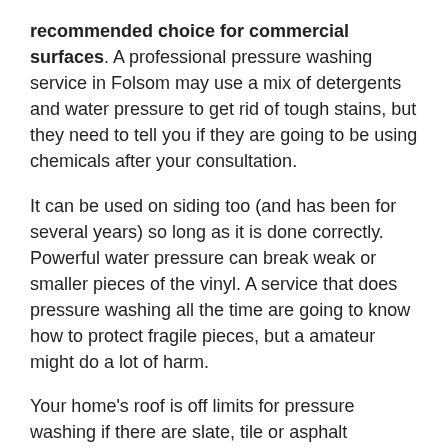recommended choice for commercial surfaces. A professional pressure washing service in Folsom may use a mix of detergents and water pressure to get rid of tough stains, but they need to tell you if they are going to be using chemicals after your consultation.
It can be used on siding too (and has been for several years) so long as it is done correctly. Powerful water pressure can break weak or smaller pieces of the vinyl. A service that does pressure washing all the time are going to know how to protect fragile pieces, but a amateur might do a lot of harm.
Your home's roof is off limits for pressure washing if there are slate, tile or asphalt shingles. The high pressure of the water will likely damage these materials and require you to replace your home's roof far sooner than expected.